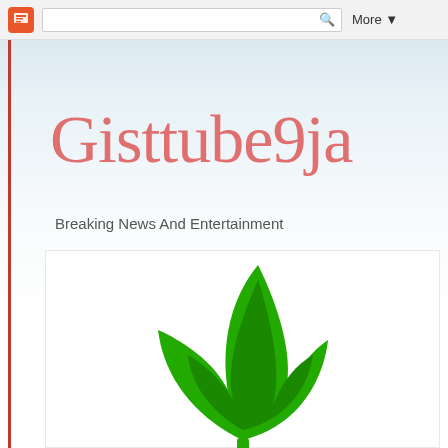Blogger navbar with search and More button
Gisttube9ja
Breaking News And Entertainment
[Figure (logo): Green flame/leaf logo icon for Gisttube9ja blog]